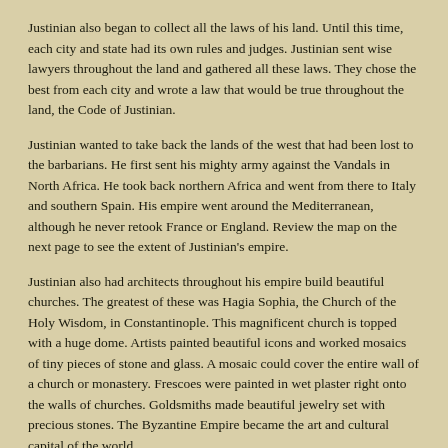Justinian also began to collect all the laws of his land. Until this time, each city and state had its own rules and judges. Justinian sent wise lawyers throughout the land and gathered all these laws. They chose the best from each city and wrote a law that would be true throughout the land, the Code of Justinian.
Justinian wanted to take back the lands of the west that had been lost to the barbarians. He first sent his mighty army against the Vandals in North Africa. He took back northern Africa and went from there to Italy and southern Spain. His empire went around the Mediterranean, although he never retook France or England. Review the map on the next page to see the extent of Justinian's empire.
Justinian also had architects throughout his empire build beautiful churches. The greatest of these was Hagia Sophia, the Church of the Holy Wisdom, in Constantinople. This magnificent church is topped with a huge dome. Artists painted beautiful icons and worked mosaics of tiny pieces of stone and glass. A mosaic could cover the entire wall of a church or monastery. Frescoes were painted in wet plaster right onto the walls of churches. Goldsmiths made beautiful jewelry set with precious stones. The Byzantine Empire became the art and cultural capital of the world.
2. Get a book from the library and show some pictures of